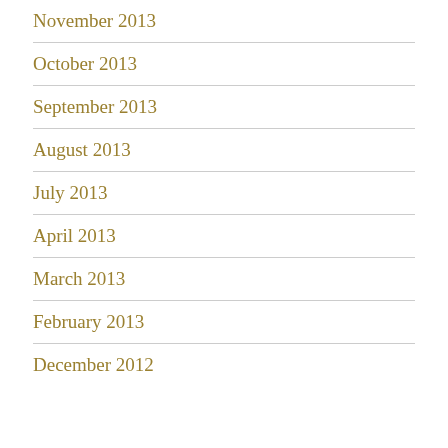November 2013
October 2013
September 2013
August 2013
July 2013
April 2013
March 2013
February 2013
December 2012